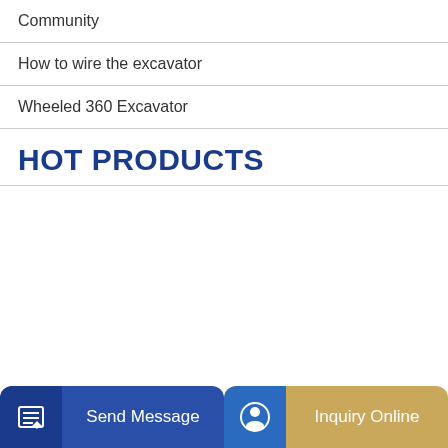Community
How to wire the excavator
Wheeled 360 Excavator
HOT PRODUCTS
Send Message
Inquiry Online